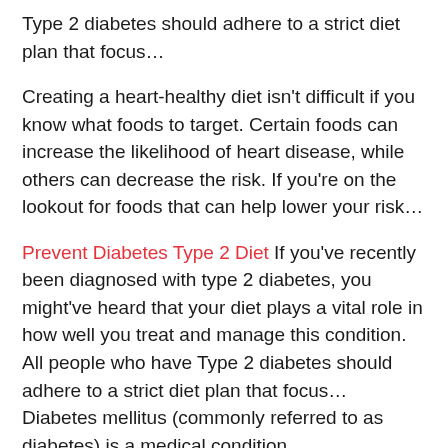Type 2 diabetes should adhere to a strict diet plan that focus…
Creating a heart-healthy diet isn't difficult if you know what foods to target. Certain foods can increase the likelihood of heart disease, while others can decrease the risk. If you're on the lookout for foods that can help lower your risk…
Prevent Diabetes Type 2 Diet If you've recently been diagnosed with type 2 diabetes, you might've heard that your diet plays a vital role in how well you treat and manage this condition. All people who have Type 2 diabetes should adhere to a strict diet plan that focus… Diabetes mellitus (commonly referred to as diabetes) is a medical condition
If you or someone you know has been diagnosed with type 2 diabetes, it's time to get the facts. knowing basic facts and common treatments for type 2 diabetes will empower you to take control of your health and make smarter decisions.
When someone diabetes with is important to know food the…